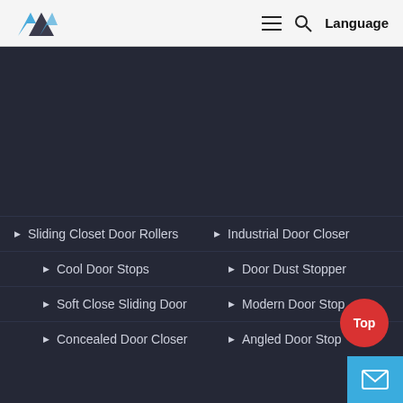Logo | Menu | Search | Language
Sliding Closet Door Rollers
Industrial Door Closer
Cool Door Stops
Door Dust Stopper
Soft Close Sliding Door
Modern Door Stop
Concealed Door Closer
Angled Door Stop